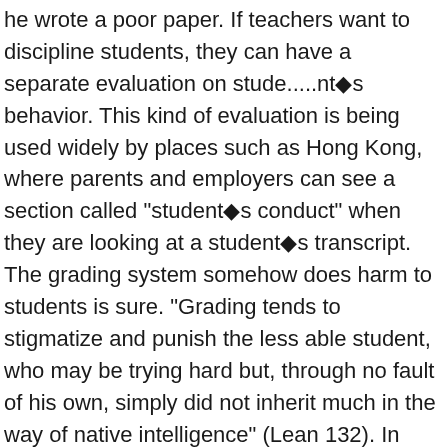he wrote a poor paper. If teachers want to discipline students, they can have a separate evaluation on stude.....nt■s behavior. This kind of evaluation is being used widely by places such as Hong Kong, where parents and employers can see a section called "student■s conduct" when they are looking at a student■s transcript. The grading system somehow does harm to students is sure. "Grading tends to stigmatize and punish the less able student, who may be trying hard but, through no fault of his own, simply did not inherit much in the way of native intelligence" (Lean 132). In addition, "once the grading system becomes established, students often shift their motivations and values and begin to work for grades" (Lean 134). I have to agree with Lean that "with grades, we teach them (students) cynicism, to say nothing of lying, cheating, competitive throat-cutting, and other reprehensible practices